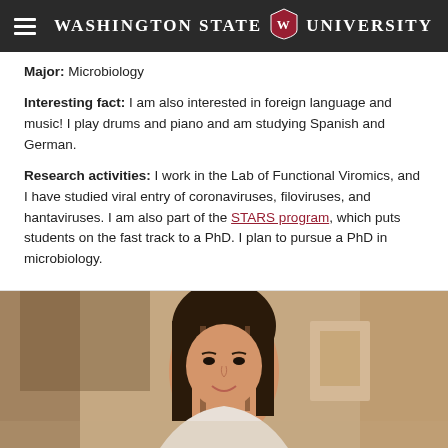Washington State University
Major: Microbiology
Interesting fact: I am also interested in foreign language and music! I play drums and piano and am studying Spanish and German.
Research activities: I work in the Lab of Functional Viromics, and I have studied viral entry of coronaviruses, filoviruses, and hantaviruses. I am also part of the STARS program, which puts students on the fast track to a PhD. I plan to pursue a PhD in microbiology.
[Figure (photo): Portrait photo of a young woman with long dark hair, smiling, photographed in a professional indoor setting]